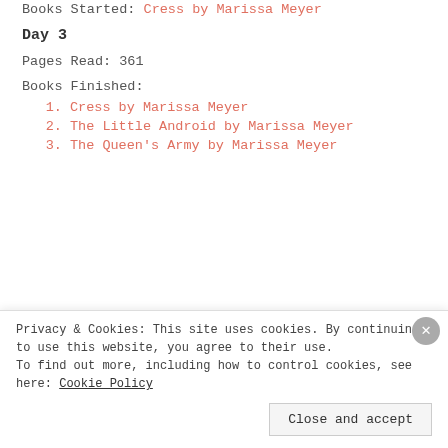Books Started: Cress by Marissa Meyer
Day 3
Pages Read: 361
Books Finished:
1. Cress by Marissa Meyer
2. The Little Android by Marissa Meyer
3. The Queen's Army by Marissa Meyer
Privacy & Cookies: This site uses cookies. By continuing to use this website, you agree to their use. To find out more, including how to control cookies, see here: Cookie Policy
Close and accept